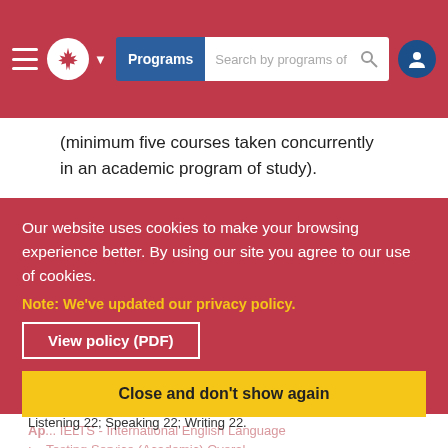Programs | Search by programs of
(minimum five courses taken concurrently in an academic program of study).
Our website uses cookies to make your browsing experience better. By using our site you agree to our use of cookies.
Note: We've updated our privacy policy.
View policy (PDF)
Close and don't show again
Test of English as a Foreign Language ... or ... Test of English as a Foreign Language (Internet-Based) (min. 85) ... IELTS - International English Language Testing Service (Academic) Overall band of 6.5 with a minimum of 6.0 in ... (Internet-based IBT): overall 88, with a minimum of 22 in each component. Reading 22, Listening 22; Speaking 22; Writing 22.